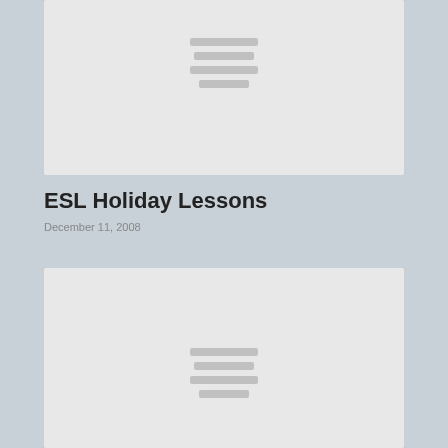[Figure (other): Gray placeholder card with horizontal lines indicating an image]
ESL Holiday Lessons
December 11, 2008
[Figure (other): Gray placeholder card with horizontal lines indicating an image]